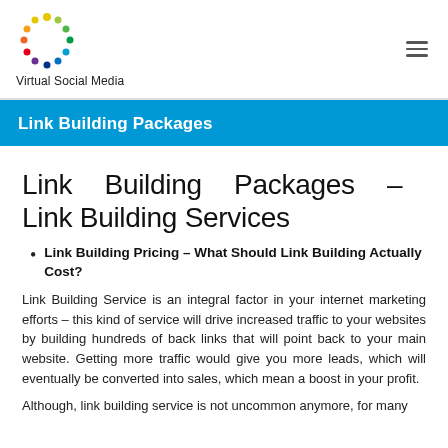Virtual Social Media
Link Building Packages
Link Building Packages – Link Building Services
Link Building Pricing – What Should Link Building Actually Cost?
Link Building Service is an integral factor in your internet marketing efforts – this kind of service will drive increased traffic to your websites by building hundreds of back links that will point back to your main website. Getting more traffic would give you more leads, which will eventually be converted into sales, which mean a boost in your profit.
Although, link building service is not uncommon anymore, for many